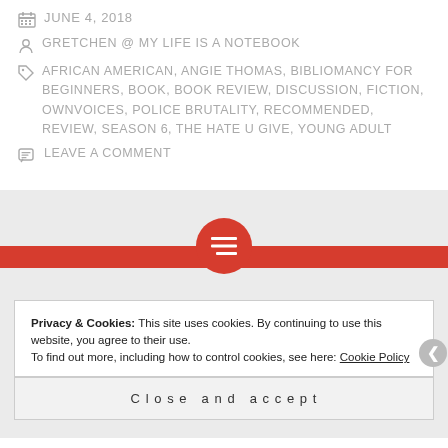JUNE 4, 2018
GRETCHEN @ MY LIFE IS A NOTEBOOK
AFRICAN AMERICAN, ANGIE THOMAS, BIBLIOMANCY FOR BEGINNERS, BOOK, BOOK REVIEW, DISCUSSION, FICTION, OWNVOICES, POLICE BRUTALITY, RECOMMENDED, REVIEW, SEASON 6, THE HATE U GIVE, YOUNG ADULT
LEAVE A COMMENT
Privacy & Cookies: This site uses cookies. By continuing to use this website, you agree to their use. To find out more, including how to control cookies, see here: Cookie Policy
Close and accept